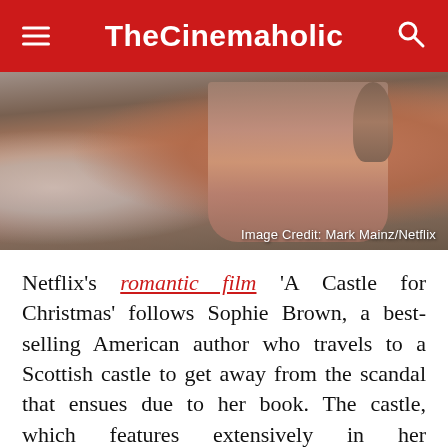TheCinemaholic
[Figure (photo): A person wearing a colorful striped blanket/poncho in a snowy outdoor setting, seen from behind. Image Credit: Mark Mainz/Netflix]
Image Credit: Mark Mainz/Netflix
Netflix's romantic film 'A Castle for Christmas' follows Sophie Brown, a best-selling American author who travels to a Scottish castle to get away from the scandal that ensues due to her book. The castle, which features extensively in her grandfather's stories, is currently owned by Myles, the Duke of Dunbar. When Sophie decides to buy the castle, the friction between Sophie and Myles sets them off to